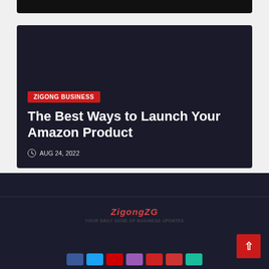[Figure (other): Dark black top bar cropped at top of page]
[Figure (other): Dark card with red category badge, article title, and date]
ZIGONG BUSINESS
The Best Ways to Launch Your Amazon Product
AUG 24, 2022
ZigongZG footer with logo, tagline, and social icons